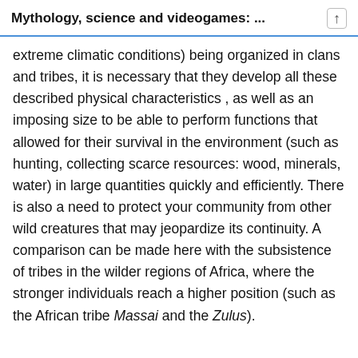Mythology, science and videogames: ...
extreme climatic conditions) being organized in clans and tribes, it is necessary that they develop all these described physical characteristics , as well as an imposing size to be able to perform functions that allowed for their survival in the environment (such as hunting, collecting scarce resources: wood, minerals, water) in large quantities quickly and efficiently. There is also a need to protect your community from other wild creatures that may jeopardize its continuity. A comparison can be made here with the subsistence of tribes in the wilder regions of Africa, where the stronger individuals reach a higher position (such as the African tribe Massai and the Zulus).